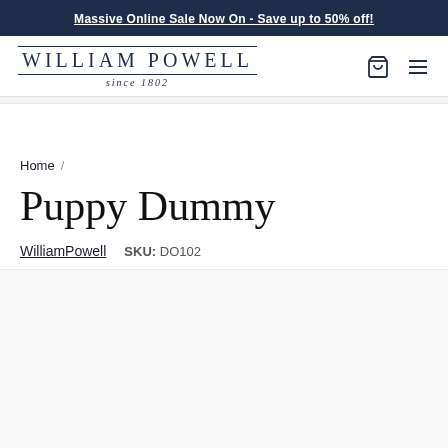Massive Online Sale Now On - Save up to 50% off!
[Figure (logo): William Powell since 1802 logo with cart and hamburger menu icons]
Home /
Puppy Dummy
WilliamPowell   SKU: DO102
[Figure (photo): Product image area (blank/loading)]